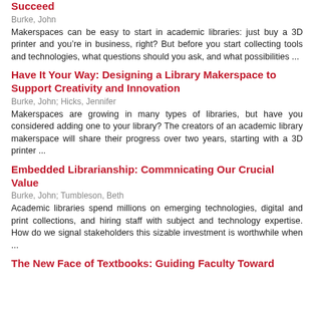Succeed
Burke, John
Makerspaces can be easy to start in academic libraries: just buy a 3D printer and you&rsquo;re in business, right? But before you start collecting tools and technologies, what questions should you ask, and what possibilities ...
Have It Your Way: Designing a Library Makerspace to Support Creativity and Innovation
Burke, John; Hicks, Jennifer
Makerspaces are growing in many types of libraries, but have you considered adding one to your library? The creators of an academic library makerspace will share their progress over two years, starting with a 3D printer ...
Embedded Librarianship: Commnicating Our Crucial Value
Burke, John; Tumbleson, Beth
Academic libraries spend millions on emerging technologies, digital and print collections, and hiring staff with subject and technology expertise. How do we signal stakeholders this sizable investment is worthwhile when ...
The New Face of Textbooks: Guiding Faculty Toward